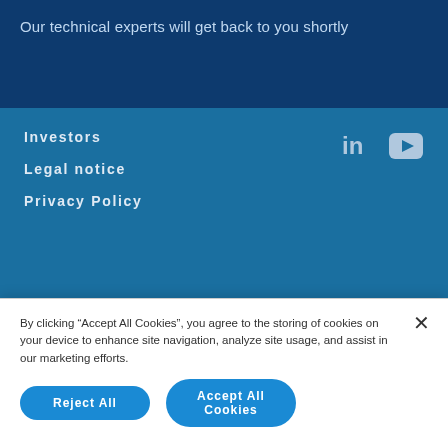Our technical experts will get back to you shortly
Investors
Legal notice
Privacy Policy
[Figure (logo): LinkedIn icon]
[Figure (logo): YouTube icon]
By clicking "Accept All Cookies", you agree to the storing of cookies on your device to enhance site navigation, analyze site usage, and assist in our marketing efforts.
Reject All
Accept All Cookies
Cookies Settings